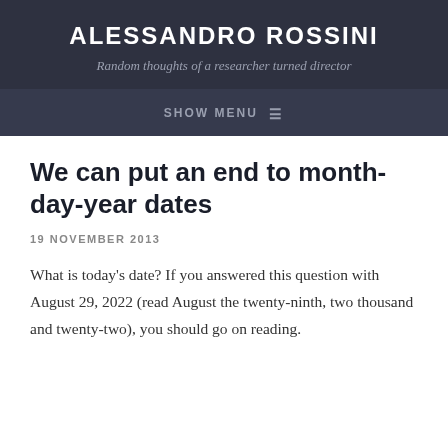ALESSANDRO ROSSINI
Random thoughts of a researcher turned director
SHOW MENU ≡
We can put an end to month-day-year dates
19 NOVEMBER 2013
What is today's date? If you answered this question with August 29, 2022 (read August the twenty-ninth, two thousand and twenty-two), you should go on reading.